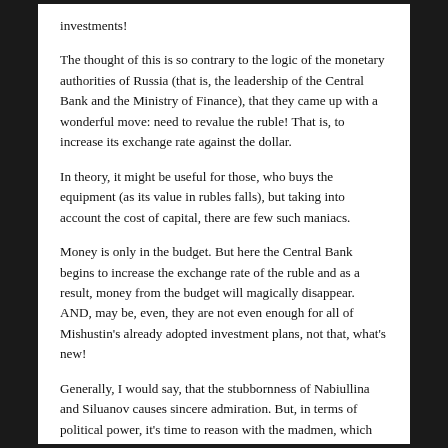investments!
The thought of this is so contrary to the logic of the monetary authorities of Russia (that is, the leadership of the Central Bank and the Ministry of Finance), that they came up with a wonderful move: need to revalue the ruble! That is, to increase its exchange rate against the dollar.
In theory, it might be useful for those, who buys the equipment (as its value in rubles falls), but taking into account the cost of capital, there are few such maniacs.
Money is only in the budget. But here the Central Bank begins to increase the exchange rate of the ruble and as a result, money from the budget will magically disappear. AND, may be, even, they are not even enough for all of Mishustin's already adopted investment plans, not that, what's new!
Generally, I would say, that the stubbornness of Nabiullina and Siluanov causes sincere admiration. But, in terms of political power, it's time to reason with the madmen, which purposefully do not allow our country to develop, nor private entrepreneurs, nor the state.